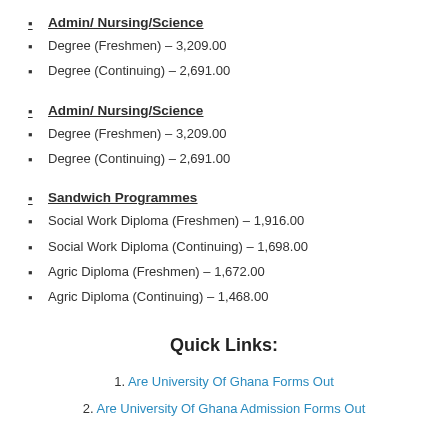Admin/ Nursing/Science
Degree (Freshmen) – 3,209.00
Degree (Continuing) – 2,691.00
Admin/ Nursing/Science
Degree (Freshmen) – 3,209.00
Degree (Continuing) – 2,691.00
Sandwich Programmes
Social Work Diploma (Freshmen) – 1,916.00
Social Work Diploma (Continuing) – 1,698.00
Agric Diploma (Freshmen) – 1,672.00
Agric Diploma (Continuing) – 1,468.00
Quick Links:
Are University Of Ghana Forms Out
Are University Of Ghana Admission Forms Out